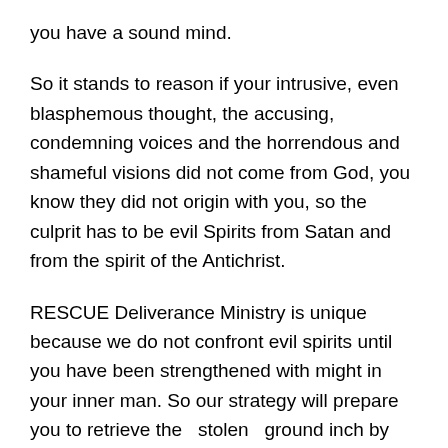you have a sound mind.
So it stands to reason if your intrusive, even blasphemous thought, the accusing, condemning voices and the horrendous and shameful visions did not come from God, you know they did not origin with you, so the culprit has to be evil Spirits from Satan and from the spirit of the Antichrist.
RESCUE Deliverance Ministry is unique because we do not confront evil spirits until you have been strengthened with might in your inner man. So our strategy will prepare you to retrieve the  stolen  ground inch by inch, progressively and gradually.  After all, it is rare that the enemy took the ground suddenly.  It may seem so because you were not aware of the gradual and progressive manner the enemy infiltrated and begin